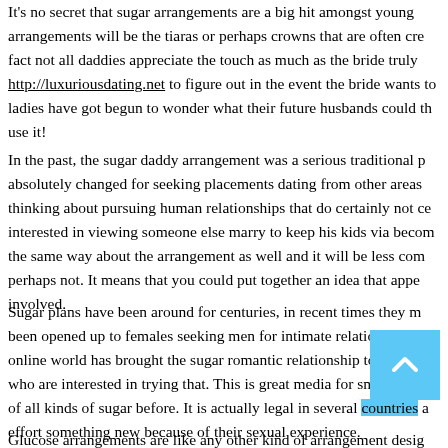It's no secret that sugar arrangements are a big hit amongst young arrangements will be the tiaras or perhaps crowns that are often cre fact not all daddies appreciate the touch as much as the bride truly http://luxuriousdating.net to figure out in the event the bride wants to ladies have got begun to wonder what their future husbands could th use it!
In the past, the sugar daddy arrangement was a serious traditional p absolutely changed for seeking placements dating from other areas thinking about pursuing human relationships that do certainly not ce interested in viewing someone else marry to keep his kids via becom the same way about the arrangement as well and it will be less com perhaps not. It means that you could put together an idea that appe involved.
Sugar plans have been around for centuries, in recent times they m been opened up to females seeking men for intimate relationships. A online world has brought the sugar romantic relationship to the cutti who are interested in trying that. This is great media for small wome of all kinds of sugar before. It is actually legal in several countries a effort something new because of their sexual experience.
Glucose arrangements are like any other kind of arrangement desig